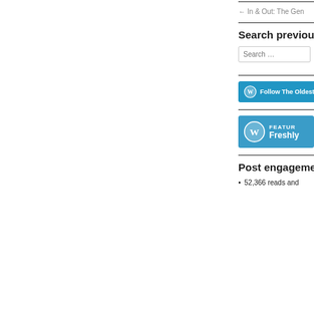← In & Out: The Gen
Search previous
Search ...
[Figure (other): WordPress Follow button: Follow The Oldest]
[Figure (other): WordPress Freshly Pressed featured banner with WordPress logo and text: FEATURED Freshly]
Post engagement
52,366 reads and